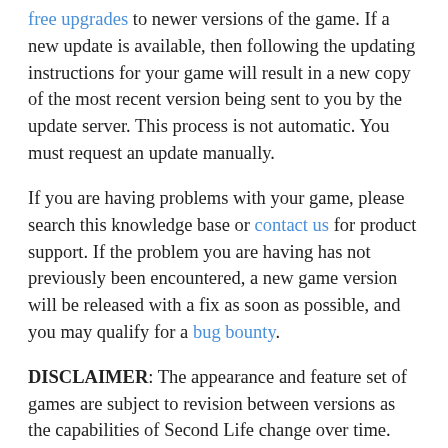free upgrades to newer versions of the game. If a new update is available, then following the updating instructions for your game will result in a new copy of the most recent version being sent to you by the update server. This process is not automatic. You must request an update manually.
If you are having problems with your game, please search this knowledge base or contact us for product support. If the problem you are having has not previously been encountered, a new game version will be released with a fix as soon as possible, and you may qualify for a bug bounty.
DISCLAIMER: The appearance and feature set of games are subject to revision between versions as the capabilities of Second Life change over time. Please see the detailed ChangeLog for your particular game before upgrading. By upgrading, you are agreeing to